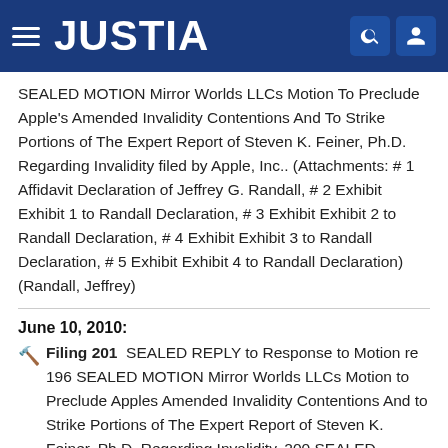[Figure (logo): Justia website header with hamburger menu, JUSTIA logo in white on dark blue background, and search and user icons on the right]
SEALED MOTION Mirror Worlds LLCs Motion To Preclude Apple's Amended Invalidity Contentions And To Strike Portions of The Expert Report of Steven K. Feiner, Ph.D. Regarding Invalidity filed by Apple, Inc.. (Attachments: # 1 Affidavit Declaration of Jeffrey G. Randall, # 2 Exhibit Exhibit 1 to Randall Declaration, # 3 Exhibit Exhibit 2 to Randall Declaration, # 4 Exhibit Exhibit 3 to Randall Declaration, # 5 Exhibit Exhibit 4 to Randall Declaration)(Randall, Jeffrey)
June 10, 2010:
Filing 201  SEALED REPLY to Response to Motion re 196 SEALED MOTION Mirror Worlds LLCs Motion to Preclude Apples Amended Invalidity Contentions And to Strike Portions of The Expert Report of Steven K. Feiner, Ph.D. Regarding Invalidity, 200 SEALED